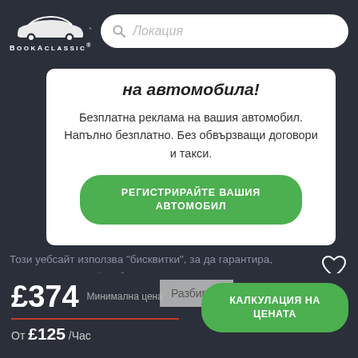[Figure (logo): BookAClassic logo with car silhouette and dropdown arrow]
Локация
на автомобила!
Безплатна реклама на вашия автомобил. Напълно безплатно. Без обвързващи договори и такси.
РЕГИСТРИРАЙТЕ ВАШИЯ АВТОМОБИЛ
Този уебсайт използва "бисквитки", за да гарантира, че получавате най-доброто изживяване на нашия уебсайт. Правила за поверителност & Cookie Policy
Искате ли да получавате
£374 Минимална цена
Разбирам
КАЛКУЛАЦИЯ НА ЦЕНАТА
От £125 /Час